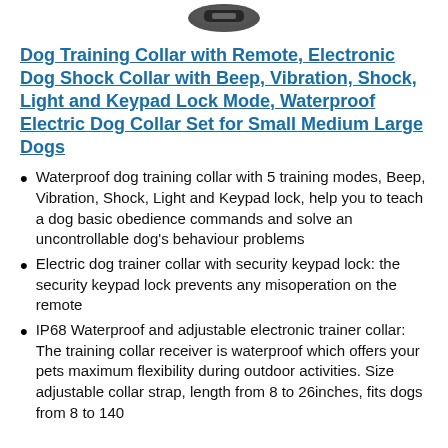[Figure (photo): Partial image of a dog training collar/remote device at the top of the page]
Dog Training Collar with Remote, Electronic Dog Shock Collar with Beep, Vibration, Shock, Light and Keypad Lock Mode, Waterproof Electric Dog Collar Set for Small Medium Large Dogs
Waterproof dog training collar with 5 training modes, Beep, Vibration, Shock, Light and Keypad lock, help you to teach a dog basic obedience commands and solve an uncontrollable dog's behaviour problems
Electric dog trainer collar with security keypad lock: the security keypad lock prevents any misoperation on the remote
IP68 Waterproof and adjustable electronic trainer collar: The training collar receiver is waterproof which offers your pets maximum flexibility during outdoor activities. Size adjustable collar strap, length from 8 to 26inches, fits dogs from 8 to 140